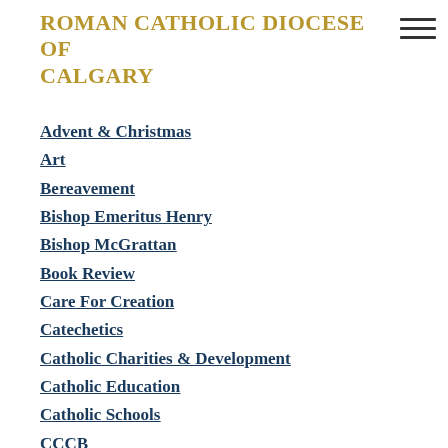ROMAN CATHOLIC DIOCESE OF CALGARY
Advent & Christmas
Art
Bereavement
Bishop Emeritus Henry
Bishop McGrattan
Book Review
Care For Creation
Catechetics
Catholic Charities & Development
Catholic Education
Catholic Schools
CCCB
Christian Unity
Climate Change
Conversion
Covid 19